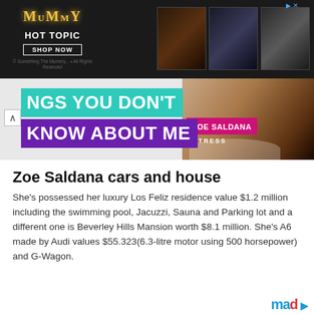[Figure (screenshot): Advertisement banner for Hot Topic featuring The Mummy merchandise. Dark background with gold logo, 'HOT TOPIC' text, 'SHOP NOW' button, and three product images.]
[Figure (screenshot): Slideshow banner reading 'THINGS YOU DON'T KNOW ABOUT ME' in teal and purple boxes, with a photo of Zoe Saldana on the right labeled 'ZOE SALDANA ACTRESS'.]
Zoe Saldana cars and house
She's possessed her luxury Los Feliz residence value $1.2 million including the swimming pool, Jacuzzi, Sauna and Parking lot and a different one is Beverley Hills Mansion worth $8.1 million. She's A6 made by Audi values $55.323(6.3-litre motor using 500 horsepower) and G-Wagon.
[Figure (logo): Partial brand logo in blue and red at bottom right corner.]